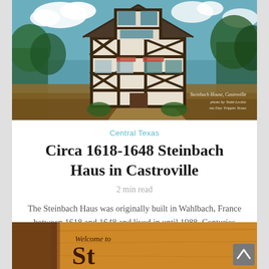[Figure (photo): Photo of the Steinbach Haus, a half-timbered historic building in Castroville, Texas, with blue sky and clouds in background. Caption overlay reads: Steinbach House, Castroville / photo by Todd Leckie / via Day Trippin Texas]
Central Texas
Circa 1618-1648 Steinbach Haus in Castroville
2 min read
The Steinbach Haus was originally built in Wahlbach, France between 1618 and 1648 and lived in until 1988. Centuries after it was built, it was...
[Figure (photo): Partially visible photo of an orange/brown wooden sign reading 'Welcome to' and the beginning of additional text below, cropped at bottom of page]